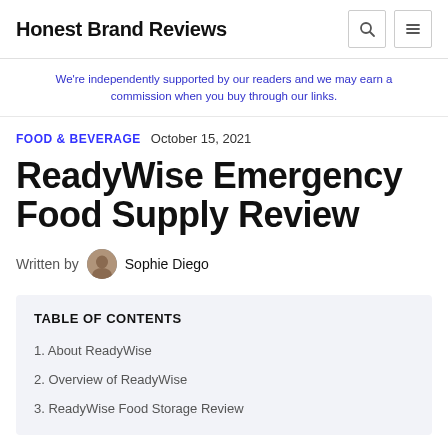Honest Brand Reviews
We're independently supported by our readers and we may earn a commission when you buy through our links.
FOOD & BEVERAGE   October 15, 2021
ReadyWise Emergency Food Supply Review
Written by Sophie Diego
TABLE OF CONTENTS
1. About ReadyWise
2. Overview of ReadyWise
3. ReadyWise Food Storage Review